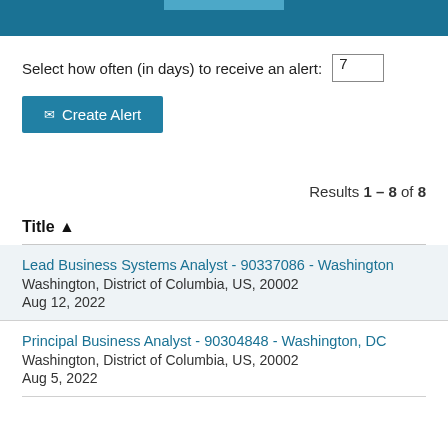Select how often (in days) to receive an alert: 7
[Figure (screenshot): Create Alert button with envelope icon]
Results 1 – 8 of 8
Title ▲
Lead Business Systems Analyst - 90337086 - Washington
Washington, District of Columbia, US, 20002
Aug 12, 2022
Principal Business Analyst - 90304848 - Washington, DC
Washington, District of Columbia, US, 20002
Aug 5, 2022